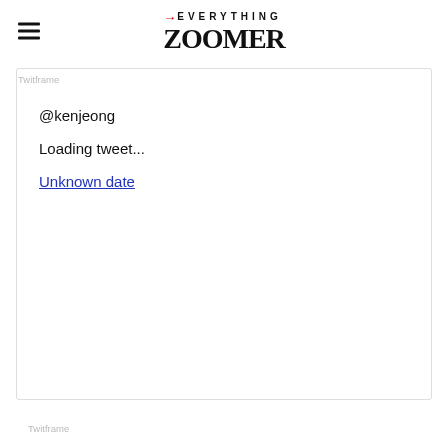→EVERYTHING ZOOMER
Twitframe
@kenjeong
Loading tweet...
Unknown date
Twitframe